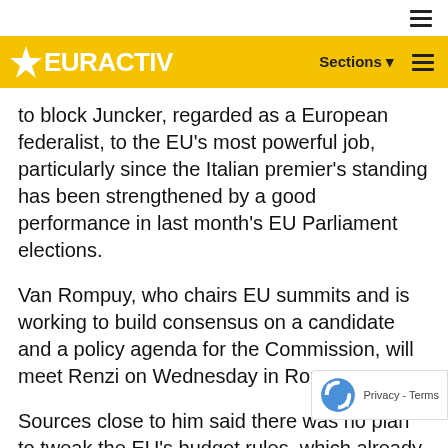EURACTIV — Sections navigation bar
to block Juncker, regarded as a European federalist, to the EU's most powerful job, particularly since the Italian premier's standing has been strengthened by a good performance in last month's EU Parliament elections.
Van Rompuy, who chairs EU summits and is working to build consensus on a candidate and a policy agenda for the Commission, will meet Renzi on Wednesday in Rome.
Sources close to him said there was no plan to tweak the EU's budget rules, which already contained some flexibility, however the proposed policy agenda would focus strongly on efforts to revive growth and employment, including by opening the EU's single market in energy and digital services.